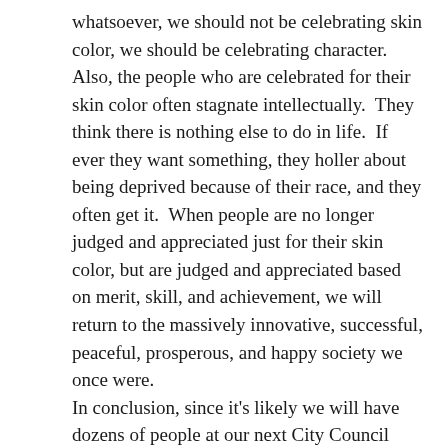whatsoever, we should not be celebrating skin color, we should be celebrating character.  Also, the people who are celebrated for their skin color often stagnate intellectually.  They think there is nothing else to do in life.  If ever they want something, they holler about being deprived because of their race, and they often get it.  When people are no longer judged and appreciated just for their skin color, but are judged and appreciated based on merit, skill, and achievement, we will return to the massively innovative, successful, peaceful, prosperous, and happy society we once were.
In conclusion, since it's likely we will have dozens of people at our next City Council Meeting to protest the myth of 'police brutality', 'systemic racism', and 'systemic inequality', demanding justice for imaginary injustices, we need to all understand what Critical Race Theory is, how dangerous it is, and how it is at the root of all the conflicts and eruptions at City Hall lately.  Of course, practically all